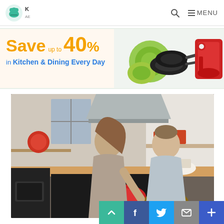KAE Kitchen logo, search icon, MENU
[Figure (infographic): Promotional banner: Save up to 40% in Kitchen & Dining Every Day, with images of green plates, black pans, and red KitchenAid mixer]
[Figure (photo): A woman and man smiling and cooking together in a modern kitchen, looking at food on the stovetop]
[Figure (infographic): Social sharing bar with scroll-up button (teal), Facebook (blue), Twitter (light blue), Email (grey), and Plus (dark blue) icons]